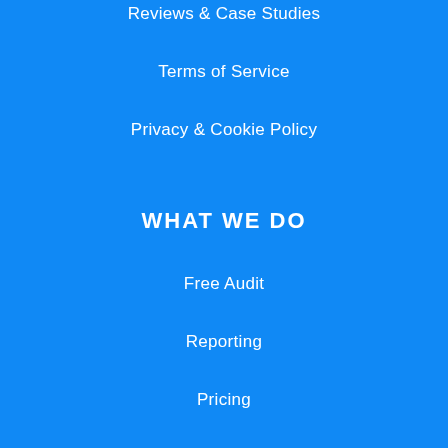Reviews & Case Studies
Terms of Service
Privacy & Cookie Policy
WHAT WE DO
Free Audit
Reporting
Pricing
Blog
Webinars
NEWSLETTER SIGNUP